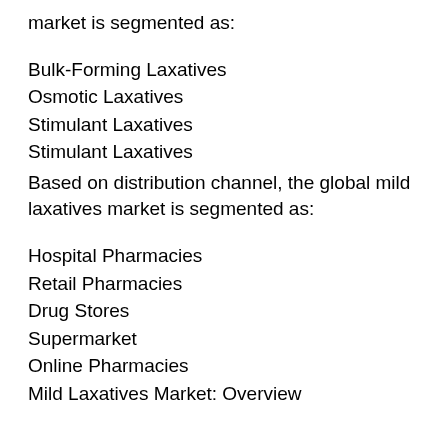market is segmented as:
Bulk-Forming Laxatives
Osmotic Laxatives
Stimulant Laxatives
Stimulant Laxatives
Based on distribution channel, the global mild laxatives market is segmented as:
Hospital Pharmacies
Retail Pharmacies
Drug Stores
Supermarket
Online Pharmacies
Mild Laxatives Market: Overview